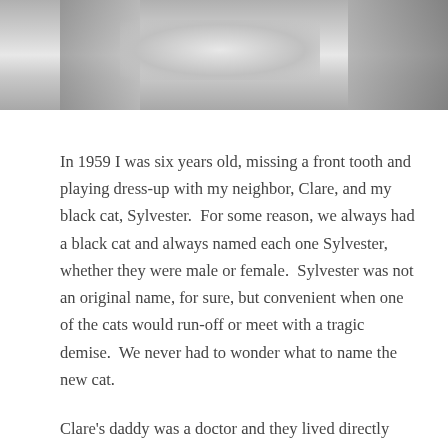[Figure (photo): Black and white photograph, partially visible at top of page, showing indistinct figures or objects in grayscale tones.]
In 1959 I was six years old, missing a front tooth and playing dress-up with my neighbor, Clare, and my black cat, Sylvester.  For some reason, we always had a black cat and always named each one Sylvester, whether they were male or female.  Sylvester was not an original name, for sure, but convenient when one of the cats would run-off or meet with a tragic demise.  We never had to wonder what to name the new cat.
Clare's daddy was a doctor and they lived directly catty-corner behind us in a large two- story house.  Our street was like a dividing line between upper and middle class houses.  Our house, the house my mother died in, was at the lower end of middle, but Clare didn't